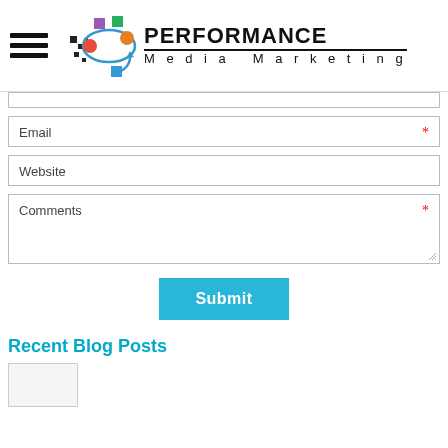[Figure (logo): Performance Media Marketing logo with hamburger menu icon, colorful orbital graphic, and company name text]
Email *
Website
Comments *
Submit
Recent Blog Posts